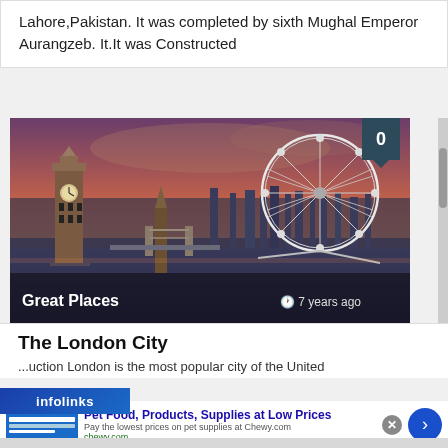Lahore,Pakistan. It was completed by sixth Mughal Emperor Aurangzeb. It.It was Constructed
[Figure (photo): Aerial photograph of London skyline showing Big Ben, the Thames River, Tower Bridge, and the London Eye at sunset/dusk, with warm orange-purple sky. Text overlay: 'Great Places' on the left and '7 years ago' on the right.]
The London City
...uction London is the most popular city of the United
infolinks
Pet Food, Products, Supplies at Low Prices
Pay the lowest prices on pet supplies at Chewy.com
chewy.com